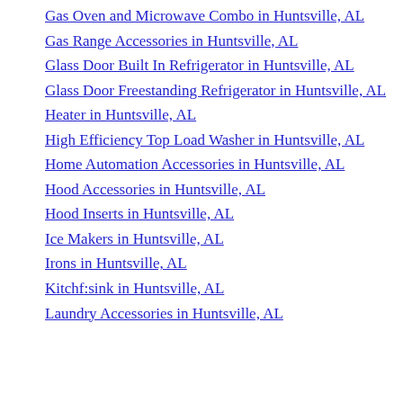Gas Oven and Microwave Combo in Huntsville, AL
Gas Range Accessories in Huntsville, AL
Glass Door Built In Refrigerator in Huntsville, AL
Glass Door Freestanding Refrigerator in Huntsville, AL
Heater in Huntsville, AL
High Efficiency Top Load Washer in Huntsville, AL
Home Automation Accessories in Huntsville, AL
Hood Accessories in Huntsville, AL
Hood Inserts in Huntsville, AL
Ice Makers in Huntsville, AL
Irons in Huntsville, AL
Kitchf:sink in Huntsville, AL
Laundry Accessories in Huntsville, AL